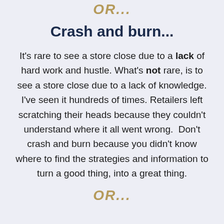OR...
Crash and burn...
It's rare to see a store close due to a lack of hard work and hustle. What's not rare, is to see a store close due to a lack of knowledge. I've seen it hundreds of times. Retailers left scratching their heads because they couldn't understand where it all went wrong.  Don't crash and burn because you didn't know where to find the strategies and information to turn a good thing, into a great thing.
OR...